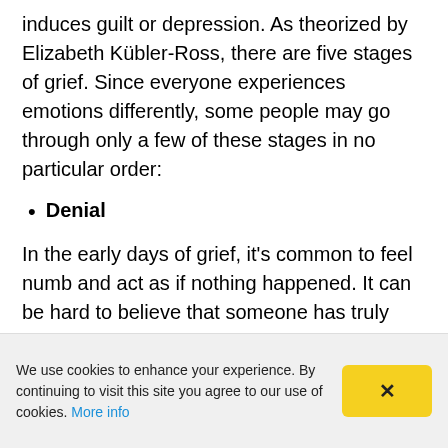induces guilt or depression. As theorized by Elizabeth Kübler-Ross, there are five stages of grief. Since everyone experiences emotions differently, some people may go through only a few of these stages in no particular order:
Denial
In the early days of grief, it's common to feel numb and act as if nothing happened. It can be hard to believe that someone has truly gone forever and that they're never coming back. Denial commonly helps survive the loss...
We use cookies to enhance your experience. By continuing to visit this site you agree to our use of cookies. More info